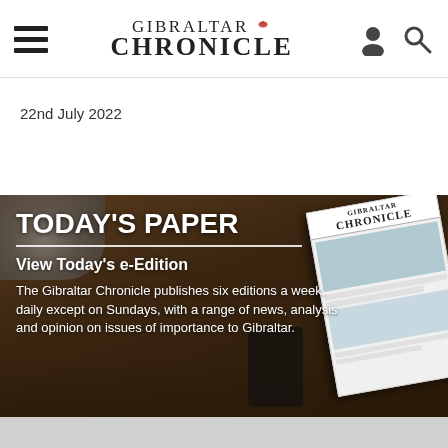GIBRALTAR CHRONICLE
22nd July 2022
[Figure (photo): Photograph of a person reading the Gibraltar Chronicle newspaper on a wooden table with coffee and dishes in the background, overlaid with white text.]
TODAY'S PAPER
View Today's e-Edition
The Gibraltar Chronicle publishes six editions a week, daily except on Sundays, with a range of news, analysis and opinion on issues of importance to Gibraltar.